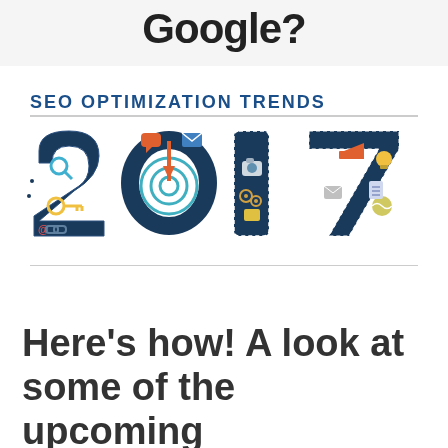Google?
SEO OPTIMIZATION TRENDS
[Figure (illustration): Stylized year '2017' rendered as a dark navy road/path shape filled with colorful SEO and digital marketing icons including a magnifying glass, key, target/bullseye with arrow, camera, gears, lightbulb, megaphone, envelope, tennis ball, and chain links symbols]
Here's how!  A look at some of the upcoming